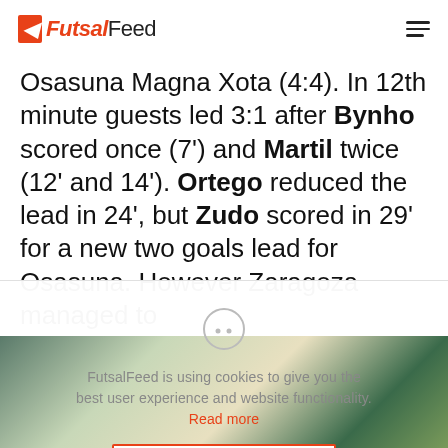FutsalFeed
Osasuna Magna Xota (4:4). In 12th minute guests led 3:1 after Bynho scored once (7') and Martil twice (12' and 14'). Ortego reduced the lead in 24', but Zudo scored in 29' for a new two goals lead for Osasuna. However Zaragoza managed to
FutsalFeed is using cookies to give you the best user experience and website functionality. Read more
OK
[Figure (photo): Sports photo at the bottom of the page showing futsal players]